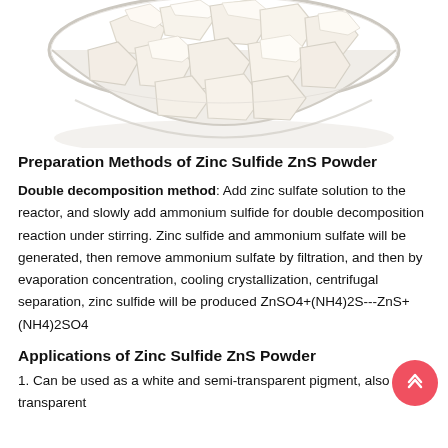[Figure (photo): A glass bowl filled with white/cream colored crystalline chunks of Zinc Sulfide ZnS powder, photographed from above against a white background.]
Preparation Methods of Zinc Sulfide ZnS Powder
Double decomposition method: Add zinc sulfate solution to the reactor, and slowly add ammonium sulfide for double decomposition reaction under stirring. Zinc sulfide and ammonium sulfate will be generated, then remove ammonium sulfate by filtration, and then by evaporation concentration, cooling crystallization, centrifugal separation, zinc sulfide will be produced ZnSO4+(NH4)2S---ZnS+(NH4)2SO4
Applications of Zinc Sulfide ZnS Powder
1. Can be used as a white and semi-transparent pigment, also semi-transparent